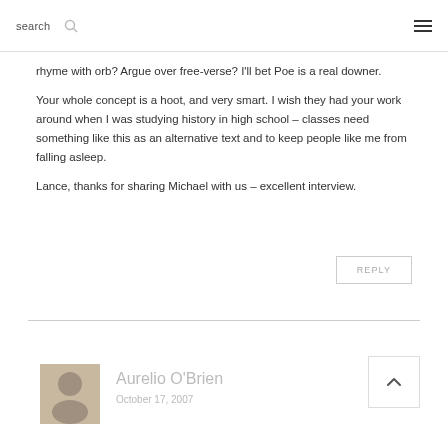search ☰
rhyme with orb? Argue over free-verse? I'll bet Poe is a real downer.
Your whole concept is a hoot, and very smart. I wish they had your work around when I was studying history in high school – classes need something like this as an alternative text and to keep people like me from falling asleep.
Lance, thanks for sharing Michael with us – excellent interview.
REPLY
Aurelio O'Brien
October 17, 2007